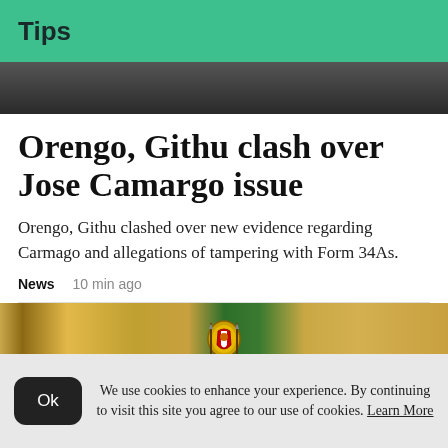Tips
[Figure (photo): Top partial photo showing people in dark clothing]
Orengo, Githu clash over Jose Camargo issue
Orengo, Githu clashed over new evidence regarding Carmago and allegations of tampering with Form 34As.
News   10 min ago
[Figure (photo): Photo of gold and green curtains with a Kenyan coat of arms crest in the center]
We use cookies to enhance your experience. By continuing to visit this site you agree to our use of cookies. Learn More